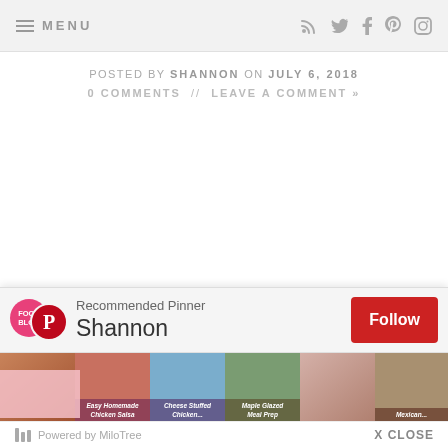≡ MENU
posted by SHANNON on JULY 6, 2018
0 COMMENTS // LEAVE A COMMENT »
[Figure (screenshot): MiloTree Pinterest popup showing Recommended Pinner Shannon with food blog images and Follow button]
Powered by MiloTree   X CLOSE